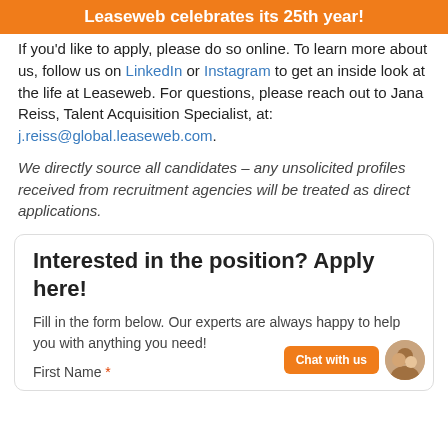Leaseweb celebrates its 25th year!
If you'd like to apply, please do so online. To learn more about us, follow us on LinkedIn or Instagram to get an inside look at the life at Leaseweb. For questions, please reach out to Jana Reiss, Talent Acquisition Specialist, at: j.reiss@global.leaseweb.com.
We directly source all candidates – any unsolicited profiles received from recruitment agencies will be treated as direct applications.
Interested in the position? Apply here!
Fill in the form below. Our experts are always happy to help you with anything you need!
First Name *